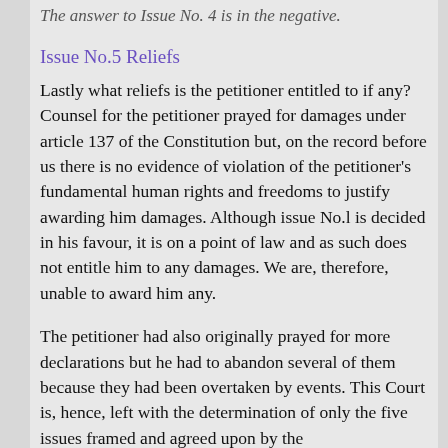The answer to Issue No. 4 is in the negative.
Issue No.5 Reliefs
Lastly what reliefs is the petitioner entitled to if any? Counsel for the petitioner prayed for damages under article 137 of the Constitution but, on the record before us there is no evidence of violation of the petitioner's fundamental human rights and freedoms to justify awarding him damages. Although issue No.l is decided in his favour, it is on a point of law and as such does not entitle him to any damages. We are, therefore, unable to award him any.
The petitioner had also originally prayed for more declarations but he had to abandon several of them because they had been overtaken by events. This Court is, hence, left with the determination of only the five issues framed and agreed upon by the parties at the...